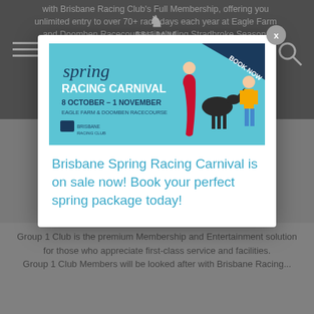with Brisbane Racing Club's Full Membership, offering you unlimited entry to over 70+ race days each year at Eagle Farm and Doomben Racecourses including Stradbroke Season, Spring Carnival and Major Carnival... Membership also provides access to exclusive reserve areas... member
[Figure (illustration): Spring Racing Carnival advertisement banner. Teal/aqua background with illustrated figures of a woman in red dress, a horse, and a person in hi-vis vest. Text: 'spring RACING CARNIVAL', '8 OCTOBER – 1 NOVEMBER', 'EAGLE FARM & DOOMBEN RACECOURSE', Brisbane Racing logo. 'BOOK NOW' badge in top right.]
Brisbane Spring Racing Carnival is on sale now! Book your perfect spring package today!
Group 1 Club is the premium Membership and Entertainment solution for those who appreciate first-class service and facilities. Group 1 Club Members will be looked after with Brisbane Racing...